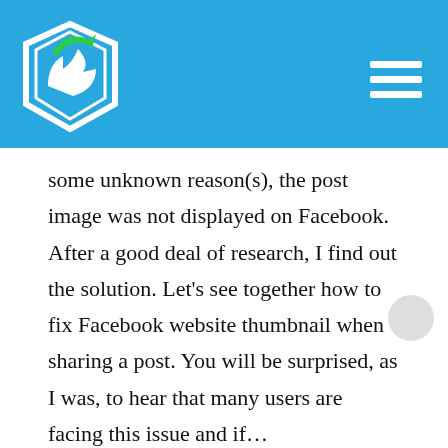[Figure (logo): Website logo with shield shape, arrows, and green accent on blue background, plus hamburger menu icon]
some unknown reason(s), the post image was not displayed on Facebook. After a good deal of research, I find out the solution. Let’s see together how to fix Facebook website thumbnail when sharing a post. You will be surprised, as I was, to hear that many users are facing this issue and if…